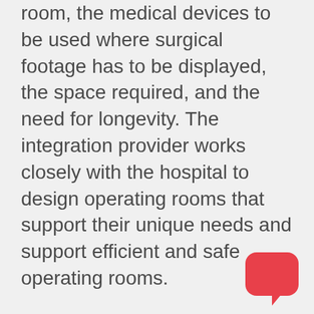room, the medical devices to be used where surgical footage has to be displayed, the space required, and the need for longevity. The integration provider works closely with the hospital to design operating rooms that support their unique needs and support efficient and safe operating rooms.
OR integration makes it possible for the hospital to find equipment in the room. For example, cart-based devices may be mounted on the wall, if desired, connected to the integration network to allow the clinical staff to display the footage of the device in the OR. In the same way, the endoscopic towers can be located on the equipment boom in the OR, keeping the floor and the surrounding areas clear of the
[Figure (illustration): Red chat bubble icon in the bottom right corner of the page]